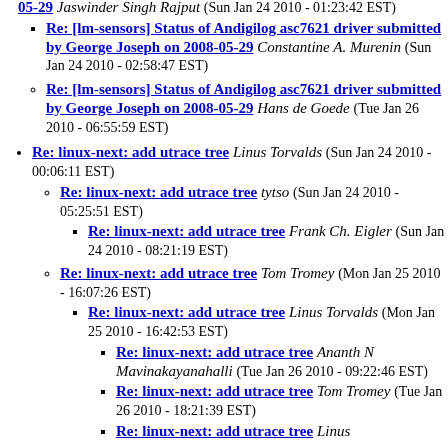Re: [lm-sensors] Status of Andigilog asc7621 driver submitted by George Joseph on 2008-05-29 Jaswinder Singh Rajput (Sun Jan 24 2010 - 01:23:42 EST)
Re: [lm-sensors] Status of Andigilog asc7621 driver submitted by George Joseph on 2008-05-29 Constantine A. Murenin (Sun Jan 24 2010 - 02:58:47 EST)
Re: [lm-sensors] Status of Andigilog asc7621 driver submitted by George Joseph on 2008-05-29 Hans de Goede (Tue Jan 26 2010 - 06:55:59 EST)
Re: linux-next: add utrace tree Linus Torvalds (Sun Jan 24 2010 - 00:06:11 EST)
Re: linux-next: add utrace tree tytso (Sun Jan 24 2010 - 05:25:51 EST)
Re: linux-next: add utrace tree Frank Ch. Eigler (Sun Jan 24 2010 - 08:21:19 EST)
Re: linux-next: add utrace tree Tom Tromey (Mon Jan 25 2010 - 16:07:26 EST)
Re: linux-next: add utrace tree Linus Torvalds (Mon Jan 25 2010 - 16:42:53 EST)
Re: linux-next: add utrace tree Ananth N Mavinakayanahalli (Tue Jan 26 2010 - 09:22:46 EST)
Re: linux-next: add utrace tree Tom Tromey (Tue Jan 26 2010 - 18:21:39 EST)
Re: linux-next: add utrace tree Linus